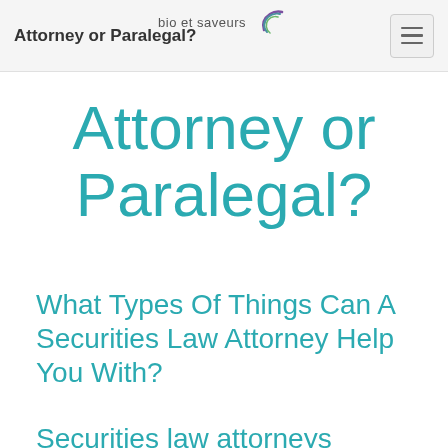Attorney or Paralegal? | bio et saveurs
Attorney or Paralegal?
What Types Of Things Can A Securities Law Attorney Help You With?
Securities law attorneys